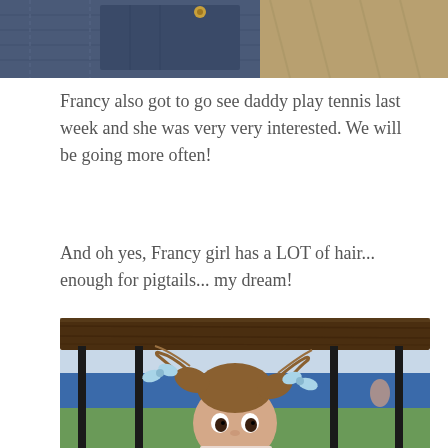[Figure (photo): Top portion of a photo showing denim jeans/fabric on a surface, partially cropped]
Francy also got to go see daddy play tennis last week and she was very very interested. We will be going more often!
And oh yes, Francy girl has a LOT of hair... enough for pigtails... my dream!
[Figure (photo): A toddler girl with pigtails tied with light blue bows, photographed through railing at a tennis court, with blue walls visible in background]